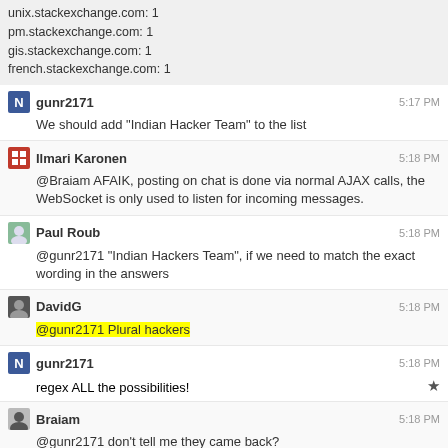unix.stackexchange.com: 1
pm.stackexchange.com: 1
gis.stackexchange.com: 1
french.stackexchange.com: 1
gunr2171 5:17 PM
We should add "Indian Hacker Team" to the list
Ilmari Karonen 5:18 PM
@Braiam AFAIK, posting on chat is done via normal AJAX calls, the WebSocket is only used to listen for incoming messages.
Paul Roub 5:18 PM
@gunr2171 "Indian Hackers Team", if we need to match the exact wording in the answers
DavidG 5:18 PM
@gunr2171 Plural hackers
gunr2171 5:18 PM
regex ALL the possibilities!
Braiam 5:18 PM
@gunr2171 don't tell me they came back?
Paul Roub 5:19 PM
!!/test Indian Hackers Team
SmokeDetector 5:19 PM